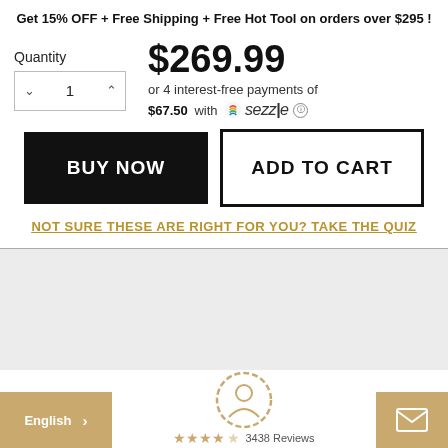Get 15% OFF + Free Shipping + Free Hot Tool on orders over $295 !
$269.99
or 4 interest-free payments of
$67.50 with sezzle
Quantity 1
BUY NOW
ADD TO CART
NOT SURE THESE ARE RIGHT FOR YOU? TAKE THE QUIZ
English
3438 Reviews